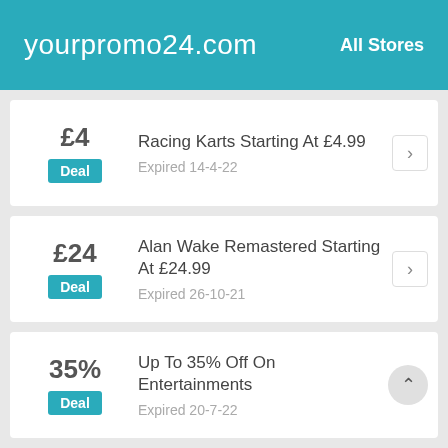yourpromo24.com  All Stores
£4 | Deal | Racing Karts Starting At £4.99 | Expired 14-4-22
£24 | Deal | Alan Wake Remastered Starting At £24.99 | Expired 26-10-21
35% | Deal | Up To 35% Off On Entertainments | Expired 20-7-22